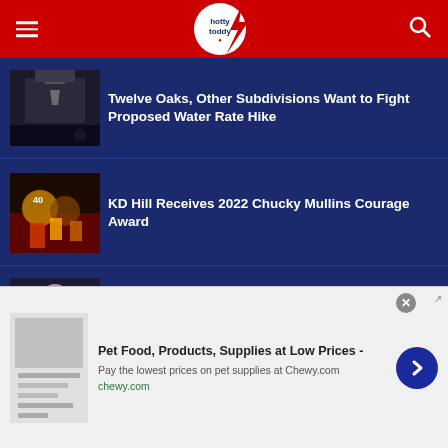hotty toddy
Twelve Oaks, Other Subdivisions Want to Fight Proposed Water Rate Hike
[Figure (photo): Night photo of a building or structure]
KD Hill Receives 2022 Chucky Mullins Courage Award
[Figure (photo): Football players in action on field]
Ole Miss Soccer Coach Matt Mott on the Season's Fast Start
[Figure (photo): Ole Miss coach at press conference]
infolinks
Pet Food, Products, Supplies at Low Prices - Pay the lowest prices on pet supplies at Chewy.com chewy.com